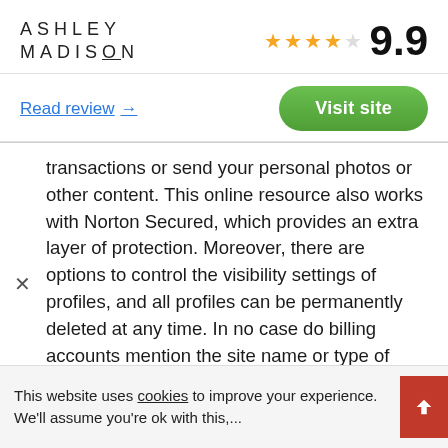[Figure (logo): Ashley Madison logo text in spaced uppercase letters with underline on N]
★★★★★ 9.9
Read review →
Visit site
transactions or send your personal photos or other content. This online resource also works with Norton Secured, which provides an extra layer of protection. Moreover, there are options to control the visibility settings of profiles, and all profiles can be permanently deleted at any time. In no case do billing accounts mention the site name or type of service, and are also anonymous and abstract, mentioning only broad-based services. Nothing will be delivered to your home address or to your name.
This website uses cookies to improve your experience. We'll assume you're ok with this,...